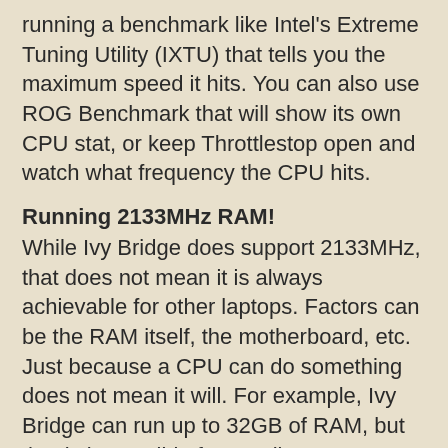running a benchmark like Intel's Extreme Tuning Utility (IXTU) that tells you the maximum speed it hits. You can also use ROG Benchmark that will show its own CPU stat, or keep Throttlestop open and watch what frequency the CPU hits.
Running 2133MHz RAM!
While Ivy Bridge does support 2133MHz, that does not mean it is always achievable for other laptops. Factors can be the RAM itself, the motherboard, etc. Just because a CPU can do something does not mean it will. For example, Ivy Bridge can run up to 32GB of RAM, but that is impossible for an Alienware M14x R2 to achieve due to its motherboard.
Many forums discussing this very laptop claimed it was not possible to run RAM at 2133MHz, but I know this to be untrue since I have done so. I will explain how I did this so others can emulate it.
To do this, I bought a pair of 8GB Kingston HyperX Impact Black DDR3L RAM @2133MHz. If installed immediately, you may not be able to post. Install one stick and set the RAM